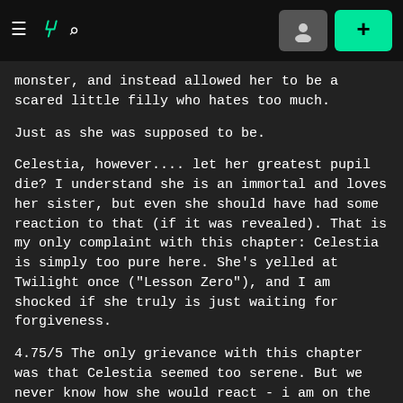≡ ƒ 🔍 [user icon] [+ button]
monster, and instead allowed her to be a scared little filly who hates too much.
Just as she was supposed to be.
Celestia, however.... let her greatest pupil die? I understand she is an immortal and loves her sister, but even she should have had some reaction to that (if it was revealed). That is my only complaint with this chapter: Celestia is simply too pure here. She's yelled at Twilight once ("Lesson Zero"), and I am shocked if she truly is just waiting for forgiveness.
4.75/5 The only grievance with this chapter was that Celestia seemed too serene. But we never know how she would react - i am on the fence. maybe 5/5. Excellent writing, this complaint is more of a personal thing ("she let twilight die?") than a flaw of writing, so actually i revise my score to 5/5. Keep it up.